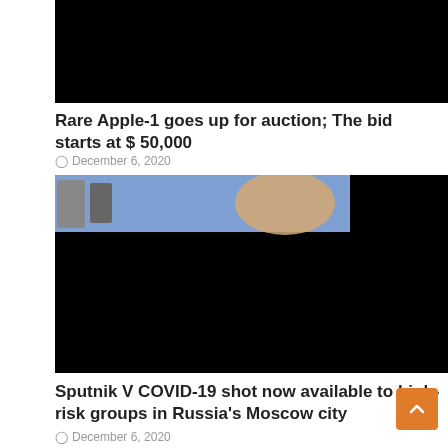[Figure (photo): Black image, top of page, first article thumbnail]
Rare Apple-1 goes up for auction; The bid starts at $ 50,000
December 6, 2020
[Figure (photo): Partially visible photo showing person in blue, mostly black background, second article thumbnail]
Sputnik V COVID-19 shot now available to high-risk groups in Russia's Moscow city
December 6, 2020
[Figure (photo): Light gray background with large 'TOI' watermark text, partially black panel on right, third article thumbnail]